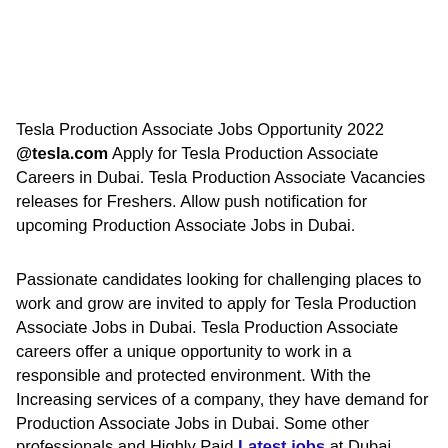Tesla Production Associate Jobs Opportunity 2022 @tesla.com Apply for Tesla Production Associate Careers in Dubai. Tesla Production Associate Vacancies releases for Freshers. Allow push notification for upcoming Production Associate Jobs in Dubai.
Passionate candidates looking for challenging places to work and grow are invited to apply for Tesla Production Associate Jobs in Dubai. Tesla Production Associate careers offer a unique opportunity to work in a responsible and protected environment. With the Increasing services of a company, they have demand for Production Associate Jobs in Dubai. Some other professionals and Highly Paid Latest jobs at Dubai Careers have also been shared.